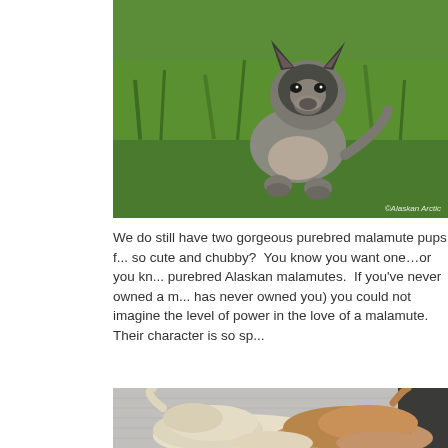[Figure (photo): A fluffy malamute puppy standing on green grass, facing the camera. Watermark reads '©Alaskan Arctic' in the bottom right corner.]
We do still have two gorgeous purebred malamute pups f... so cute and chubby? You know you want one…or you kn... purebred Alaskan malamutes. If you've never owned a m... has never owned you) you could not imagine the level of... power in the love of a malamute. Their character is so sp...
[Figure (photo): Two malamute puppies, one cream/white and one tan/brown, seen from behind against a grey fabric background.]